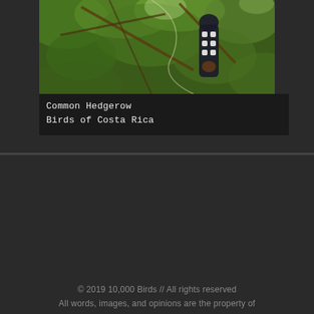[Figure (photo): A bird (likely a woodpecker or similar species with black and white checkered pattern) perched among green tropical foliage and branches in Costa Rica]
Common Hedgerow Birds of Costa Rica
© 2019 10,000 Birds // All rights reserved
All words, images, and opinions are the property of